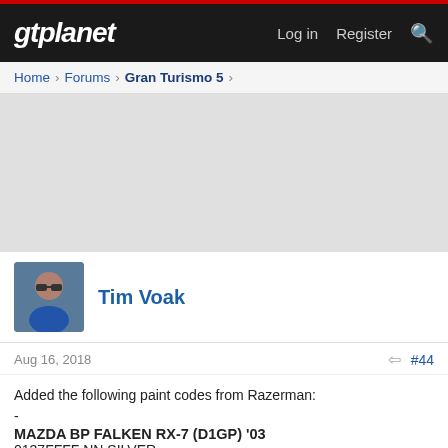gtplanet — Log in  Register
Home > Forums > Gran Turismo 5 >
[Figure (other): Gray advertisement placeholder area]
Tim Voak
Aug 16, 2018  #44
Added the following paint codes from Razerman:
-
MAZDA BP FALKEN RX-7 (D1GP) '03
0137FFFF NN SILVER
-
MAZDA6 / ATENZA TOURING CAR
01335FFF NN (ylw) BLUE